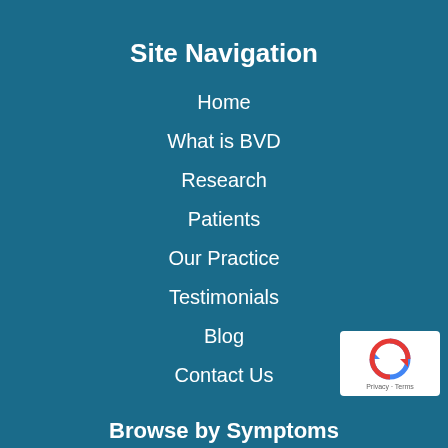Site Navigation
Home
What is BVD
Research
Patients
Our Practice
Testimonials
Blog
Contact Us
[Figure (logo): reCAPTCHA privacy badge with circular arrow icon and Privacy - Terms text]
Browse by Symptoms